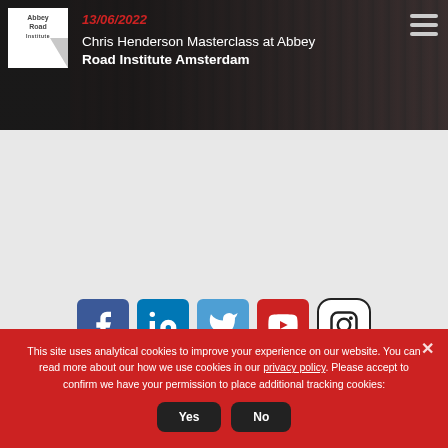[Figure (photo): Hero banner showing a recording studio scene with mixing board and students, Abbey Road Institute branding]
13/06/2022
Chris Henderson Masterclass at Abbey Road Institute Amsterdam
[Figure (infographic): Row of social media icons: Facebook, LinkedIn, Twitter, YouTube, Instagram]
This site uses analytical cookies to improve your experience on our website. You can read more about our how we use cookies in our privacy policy. Please accept to confirm we have your permission to place additional tracking cookies:
Yes | No